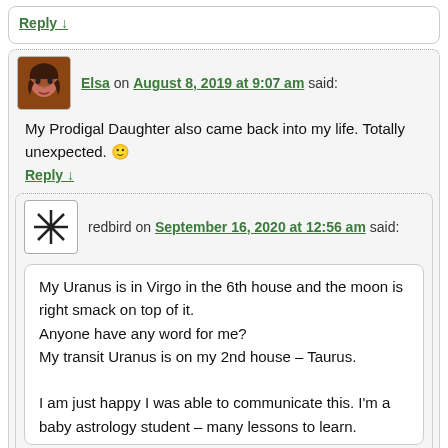Reply ↓
Elsa on August 8, 2019 at 9:07 am said:
My Prodigal Daughter also came back into my life. Totally unexpected. 🙂
Reply ↓
redbird on September 16, 2020 at 12:56 am said:
My Uranus is in Virgo in the 6th house and the moon is right smack on top of it.
Anyone have any word for me?
My transit Uranus is on my 2nd house – Taurus.

I am just happy I was able to communicate this. I'm a baby astrology student – many lessons to learn.
Reply ↓
Iric on August 8, 2019 at 11:22 am said:
I also have Taurus in my 4th House. I can definitely Relate. I also have some word about the beginning of the transit and it's been...